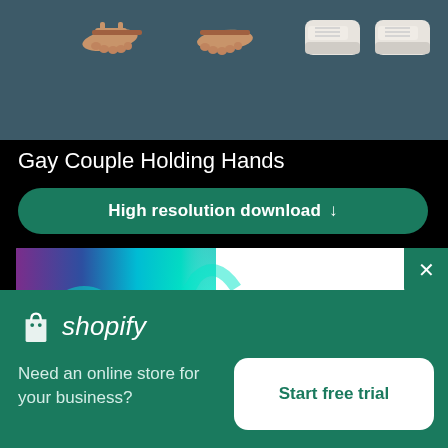[Figure (photo): Cropped view of feet/sandals and sneakers on dark teal background]
Gay Couple Holding Hands
High resolution download ↓
[Figure (photo): Abstract colorful smoke in teal, purple and blue on white background]
Need an online store for your business?
Start free trial